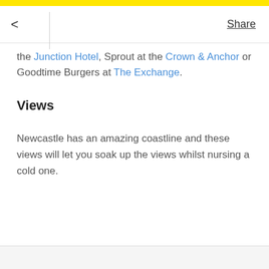< Share
the Junction Hotel, Sprout at the Crown & Anchor or Goodtime Burgers at The Exchange.
Views
Newcastle has an amazing coastline and these views will let you soak up the views whilst nursing a cold one.